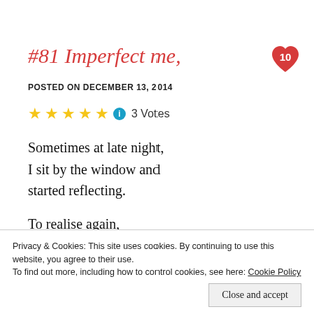#81 Imperfect me,
POSTED ON DECEMBER 13, 2014
★★★★★ ℹ 3 Votes
Sometimes at late night,
I sit by the window and
started reflecting.

To realise again,
how blessed I really am
Privacy & Cookies: This site uses cookies. By continuing to use this website, you agree to their use.
To find out more, including how to control cookies, see here: Cookie Policy
Close and accept